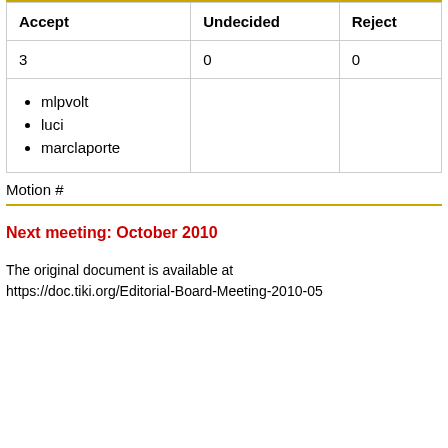| Accept | Undecided | Reject |
| --- | --- | --- |
| 3 | 0 | 0 |
| • mlpvolt
• luci
• marclaporte |  |  |
Motion #
Next meeting: October 2010
The original document is available at https://doc.tiki.org/Editorial-Board-Meeting-2010-05